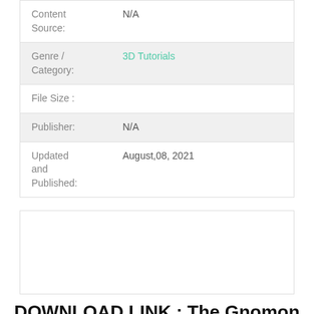| Content Source: | N/A |
| Genre / Category: | 3D Tutorials |
| File Size : |  |
| Publisher: | N/A |
| Updated and Published: | August,08, 2021 |
DOWNLOAD LINK : The Gnomon Workshop – Optimization For Games – Settings, Materials, Textures &